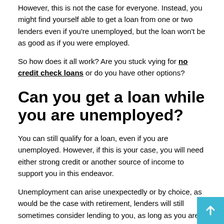However, this is not the case for everyone. Instead, you might find yourself able to get a loan from one or two lenders even if you're unemployed, but the loan won't be as good as if you were employed.
So how does it all work? Are you stuck vying for no credit check loans or do you have other options?
Can you get a loan while you are unemployed?
You can still qualify for a loan, even if you are unemployed. However, if this is your case, you will need either strong credit or another source of income to support you in this endeavor.
Unemployment can arise unexpectedly or by choice, as would be the case with retirement, lenders will still sometimes consider lending to you, as long as you are able to persuade them that you will be able to make regular payments on time.